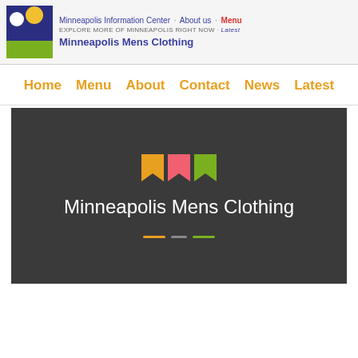Minneapolis Information Center · About us · Menu
EXPLORE MORE OF MINNEAPOLIS RIGHT NOW · Latest
Minneapolis Mens Clothing
Home   Menu   About   Contact   News   Latest
[Figure (screenshot): Dark grey hero banner with three bookmark/flag icons (orange, pink/red, green), large white text reading 'Minneapolis Mens Clothing', and three colored horizontal dashes at the bottom.]